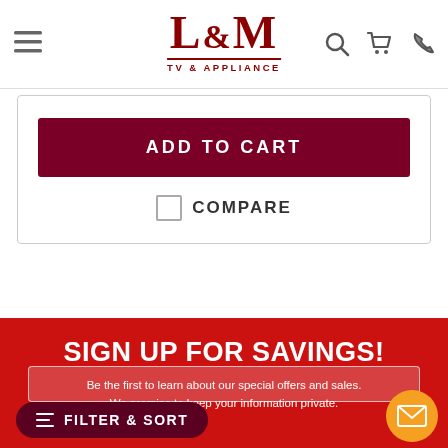[Figure (logo): L&M TV & Appliance logo in dark red]
ADD TO CART
COMPARE
SIGN UP FOR SAVINGS!
Be the first to learn about our special offers and sales. We promise to keep your information private.
FILTER & SORT